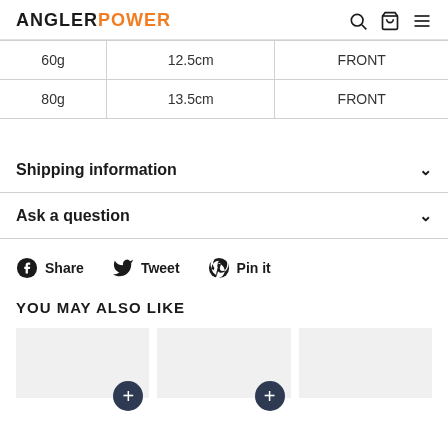ANGLERPOWER
| 60g | 12.5cm | FRONT |
| 80g | 13.5cm | FRONT |
Shipping information
Ask a question
Share  Tweet  Pin it
YOU MAY ALSO LIKE